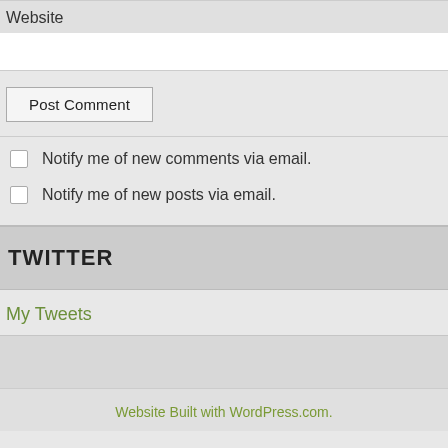Website
Notify me of new comments via email.
Notify me of new posts via email.
TWITTER
My Tweets
Website Built with WordPress.com.